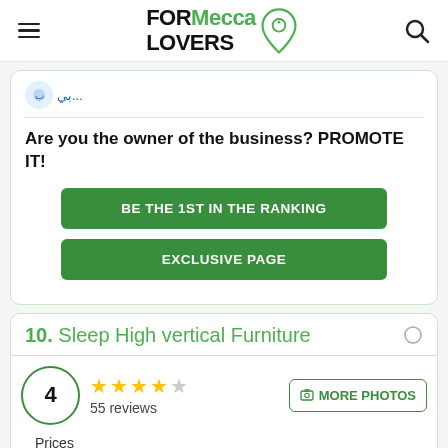FORMecca LOVERS
Are you the owner of the business? PROMOTE IT!
BE THE 1ST IN THE RANKING
EXCLUSIVE PAGE
10. Sleep High vertical Furniture
4 stars, 55 reviews
MORE PHOTOS
Prices